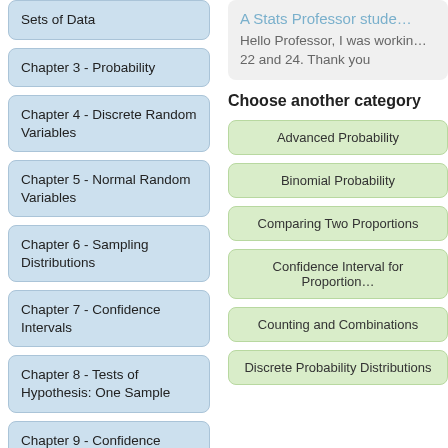Sets of Data
Chapter 3 - Probability
Chapter 4 - Discrete Random Variables
Chapter 5 - Normal Random Variables
Chapter 6 - Sampling Distributions
Chapter 7 - Confidence Intervals
Chapter 8 - Tests of Hypothesis: One Sample
Chapter 9 - Confidence Intervals and Hypothesis Tests: Two Samples
A Stats Professor stude...
Hello Professor, I was workin... 22 and 24. Thank you
Choose another category
Advanced Probability
Binomial Probability
Comparing Two Proportions
Confidence Interval for Proportion
Counting and Combinations
Discrete Probability Distributions